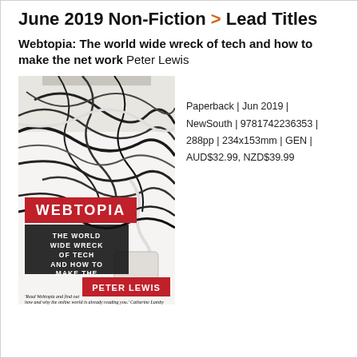June 2019 Non-Fiction > Lead Titles
Webtopia: The world wide wreck of tech and how to make the net work Peter Lewis
[Figure (photo): Book cover of Webtopia by Peter Lewis showing tangled cables and wires on white background. Red banner reads WEBTOPIA, dark banner reads THE WORLD WIDE WRECK OF TECH AND HOW TO MAKE THE NET WORK, red banner at bottom reads PETER LEWIS. Quote at bottom: 'Read Webtopia and find out how and why the online world is already reading you.' Catherine Lumby]
Paperback | Jun 2019 | NewSouth | 9781742236353 | 288pp | 234x153mm | GEN | AUD$32.99, NZD$39.99